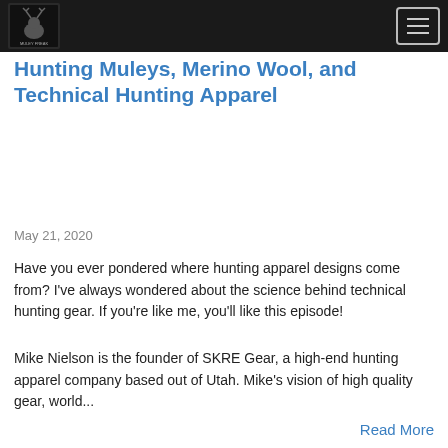[Figure (logo): Podcast logo/image in dark header bar, small square image with text and deer/wildlife graphic]
[Figure (other): Hamburger menu button (three horizontal lines) in top right corner inside dark header bar]
Hunting Muleys, Merino Wool, and Technical Hunting Apparel
May 21, 2020
Have you ever pondered where hunting apparel designs come from? I've always wondered about the science behind technical hunting gear. If you're like me, you'll like this episode!
Mike Nielson is the founder of SKRE Gear, a high-end hunting apparel company based out of Utah. Mike's vision of high quality gear, world...
Read More